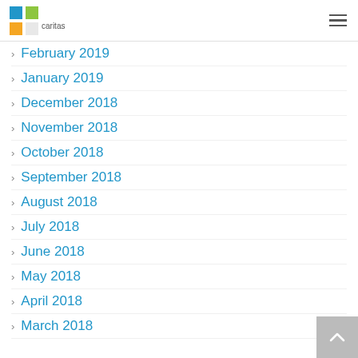Caritas logo and navigation menu
February 2019
January 2019
December 2018
November 2018
October 2018
September 2018
August 2018
July 2018
June 2018
May 2018
April 2018
March 2018